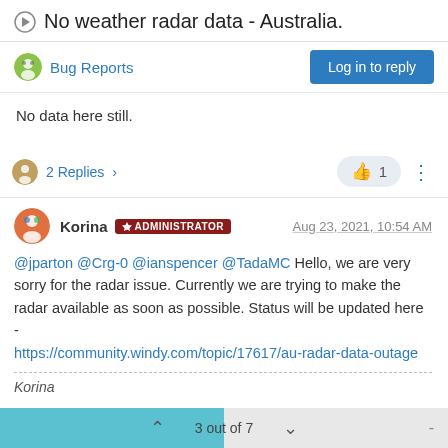No weather radar data - Australia.
Bug Reports
Log in to reply
No data here still.
2 Replies > | 1
Korina ADMINISTRATOR Aug 23, 2021, 10:54 AM
@jparton @Crg-0 @ianspencer @TadaMC Hello, we are very sorry for the radar issue. Currently we are trying to make the radar available as soon as possible. Status will be updated here - https://community.windy.com/topic/17617/au-radar-data-outage
Korina
3 out of 7